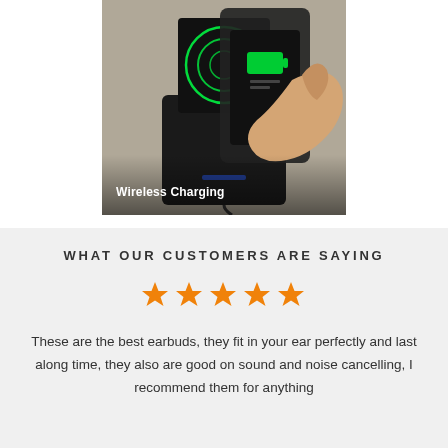[Figure (photo): A hand holding a smartphone being placed on a wireless charging stand with green glowing wireless charging circles on the stand. Text overlay reads 'Wireless Charging' in bold white at the bottom left.]
WHAT OUR CUSTOMERS ARE SAYING
[Figure (infographic): Five orange star rating symbols in a row indicating 5-star review]
These are the best earbuds, they fit in your ear perfectly and last along time, they also are good on sound and noise cancelling, I recommend them for anything